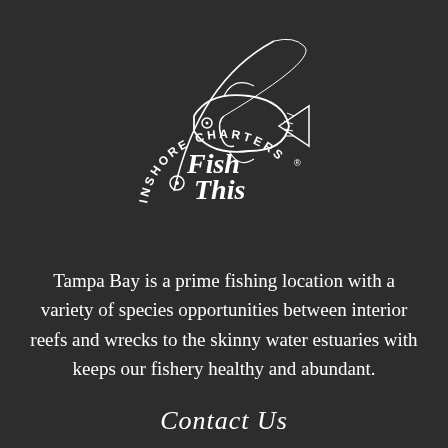[Figure (logo): Fish This Inshore Charters logo: white line illustration of a fish on a hook with fishing rod arc above, with script text 'Fish This' and circular text 'INSHORE CHARTERS' around the bottom, on dark background]
Tampa Bay is a prime fishing location with a variety of species opportunities between interior reefs and wrecks to the skinny water estuaries with keeps our fishery healthy and abundant.
Contact Us